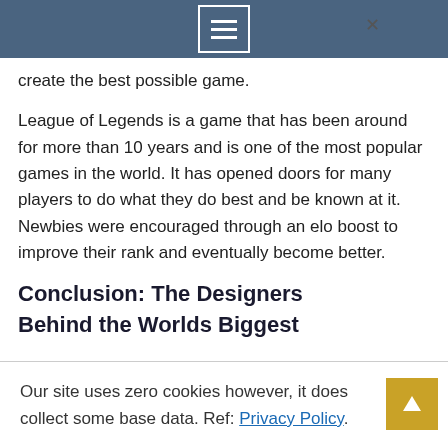create the best possible game.
League of Legends is a game that has been around for more than 10 years and is one of the most popular games in the world. It has opened doors for many players to do what they do best and be known at it. Newbies were encouraged through an elo boost to improve their rank and eventually become better.
Conclusion: The Designers Behind the Worlds Biggest
Our site uses zero cookies however, it does collect some base data. Ref: Privacy Policy.